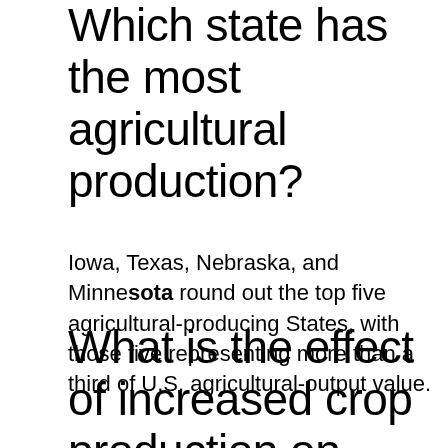Which state has the most agricultural production?
Iowa, Texas, Nebraska, and Minnesota round out the top five agricultural-producing States, with those five representing more than a third of U.S. agricultural-output value.
What is the effect of increased crop production on inflation?